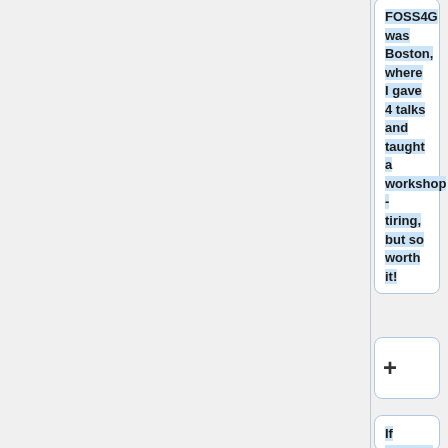FOSS4G was Boston, where I gave 4 talks and taught a workshop - tiring, but so worth it!
+
If elected, I look forward to giving back to the community upon whose shoulders I have built my career. I would continue to promote open source, but through more official channels, and I